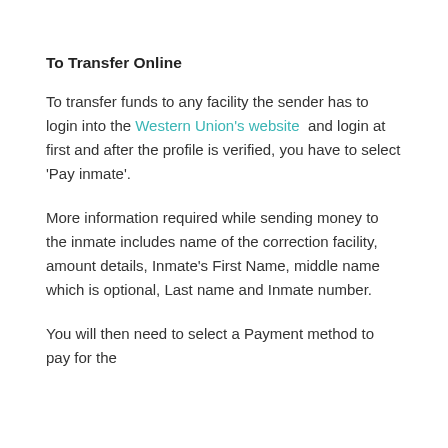To Transfer Online
To transfer funds to any facility the sender has to login into the Western Union’s website  and login at first and after the profile is verified, you have to select ‘Pay inmate’.
More information required while sending money to the inmate includes name of the correction facility, amount details, Inmate’s First Name, middle name which is optional, Last name and Inmate number.
You will then need to select a Payment method to pay for the